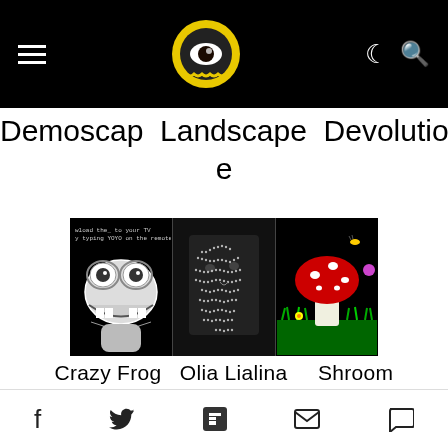Navigation bar with hamburger menu, site logo, moon/search icons
Demoscap e   Landscape   Devolution
[Figure (illustration): Three-panel pixel art / ZX Spectrum style images: left panel shows Crazy Frog character in black and white, middle panel shows Olia Lialina face rendered in dithered halftone black and white, right panel shows a red mushroom (Shroom) on black background with colorful flowers and insects]
Crazy Frog   Olia Lialina     Shroom
Dragan: I was invited to the Microtel project by my micromusic friend and colleague Emma Davidson (Lektrogirl).
Social share icons: Facebook, Twitter, Flipboard, Email, Comment